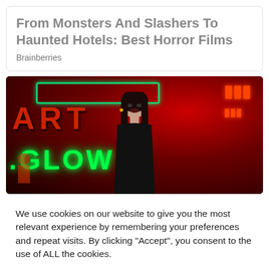From Monsters And Slashers To Haunted Hotels: Best Horror Films
Brainberries
[Figure (photo): Woman with dark hair and dark lipstick standing in front of neon signs with red and green lighting spelling ART and GLOW]
We use cookies on our website to give you the most relevant experience by remembering your preferences and repeat visits. By clicking “Accept”, you consent to the use of ALL the cookies.
Do not sell my personal information.
Cookie Settings
Accept